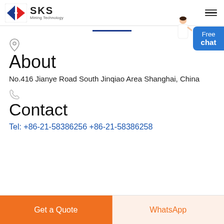SKS Mining Technology
About
No.416 Jianye Road South Jinqiao Area Shanghai, China
Contact
Tel: +86-21-58386256 +86-21-58386258
Get a Quote
WhatsApp